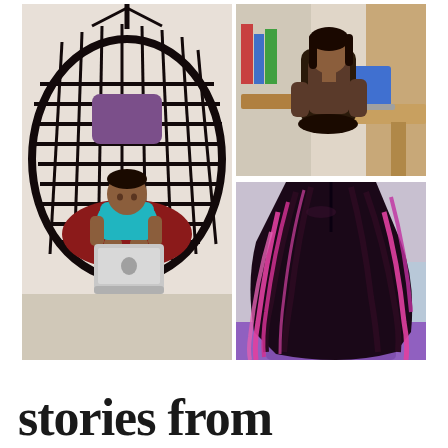[Figure (photo): Collage of three photos: (left) a child sitting in a hanging egg chair with a purple cushion and red seat cushion, using an Apple MacBook laptop; (top right) a woman with dark hair sitting at a desk working on a laptop, viewed from behind; (bottom right) close-up of a person's long dark hair with pink/purple highlights, viewed from behind.]
stories from